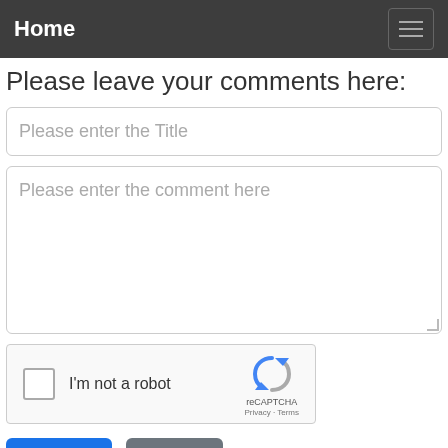Home
Please leave your comments here:
Please enter the Title
Please enter the comment here
[Figure (other): reCAPTCHA widget with checkbox labeled I'm not a robot]
Submit
Reset
Related Topics